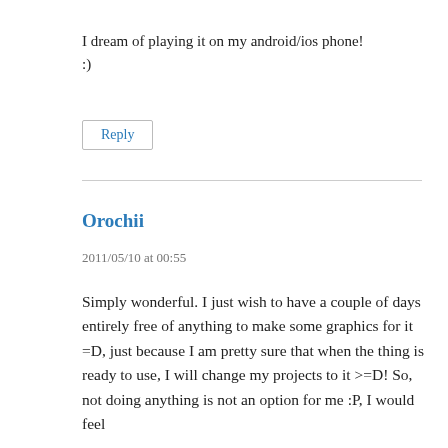I dream of playing it on my android/ios phone! :)
Reply
Orochii
2011/05/10 at 00:55
Simply wonderful. I just wish to have a couple of days entirely free of anything to make some graphics for it =D, just because I am pretty sure that when the thing is ready to use, I will change my projects to it >=D! So, not doing anything is not an option for me :P, I would feel